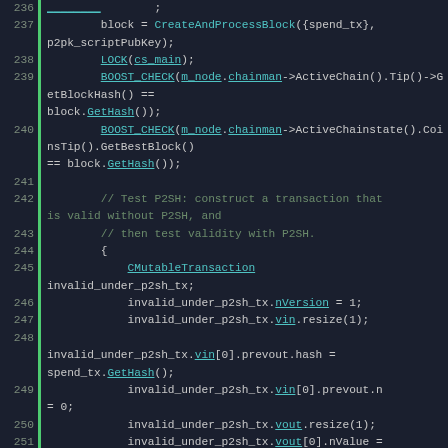[Figure (screenshot): Source code viewer showing C++ code lines 236-254 with line numbers, green vertical bars, and syntax highlighting in cyan/teal for identifiers and underlined links. Background is dark navy/charcoal. Code relates to Bitcoin/blockchain transaction processing with P2SH (Pay to Script Hash) tests.]